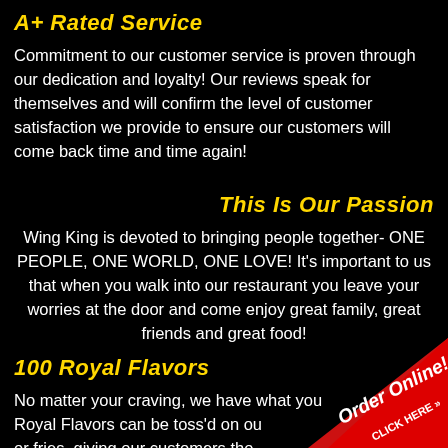A+ Rated Service
Commitment to our customer service is proven through our dedication and loyalty! Our reviews speak for themselves and will confirm the level of customer satisfaction we provide to ensure our customers will come back time and time again!
This Is Our Passion
Wing King is devoted to bringing people together- ONE PEOPLE, ONE WORLD, ONE LOVE! It's important to us that when you walk into our restaurant you leave your worries at the door and come enjoy great family, great friends and great food!
100 Royal Flavors
No matter your craving, we have what you... Royal Flavors can be toss'd on ou... or fries, giving our customers tho...
[Figure (infographic): Red diagonal banner in bottom-right corner with 'Order Online!' in white cursive text and 'CLICK HERE >>' in white bold text below]